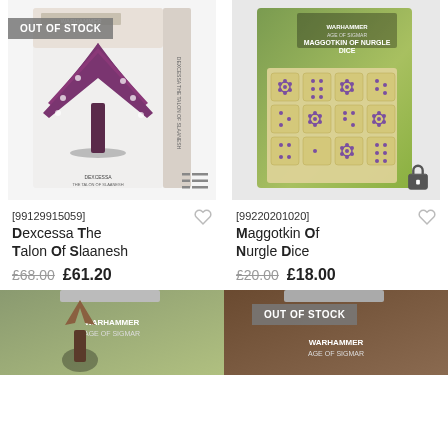[Figure (photo): Product image of Dexcessa The Talon Of Slaanesh miniature box set, Age of Sigmar, with OUT OF STOCK badge]
[Figure (photo): Product image of Maggotkin Of Nurgle Dice set showing yellow dice with purple markings in blister packaging]
[99129915059] Dexcessa The Talon Of Slaanesh
£68.00 £61.20
[99220201020] Maggotkin Of Nurgle Dice
£20.00 £18.00
[Figure (photo): Bottom-left partially visible Warhammer product blister pack]
[Figure (photo): Bottom-right partially visible Warhammer product blister pack with OUT OF STOCK badge]